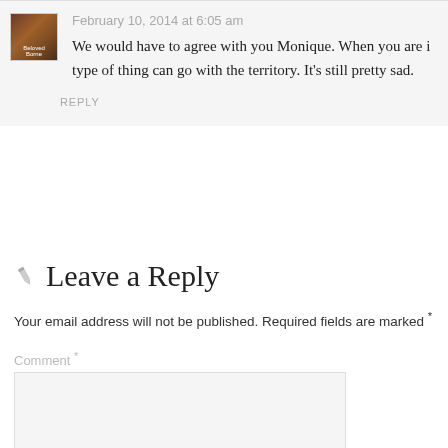February 10, 2014 at 6:05 am
We would have to agree with you Monique. When you are in this type of thing can go with the territory. It’s still pretty sad.
REPLY
Leave a Reply
Your email address will not be published. Required fields are marked *
Comment *
Name *